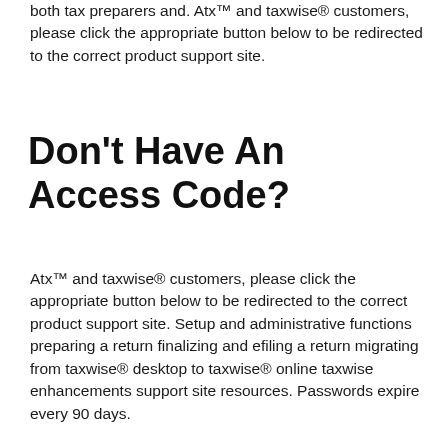both tax preparers and. Atx™ and taxwise® customers, please click the appropriate button below to be redirected to the correct product support site.
Don't Have An Access Code?
Atx™ and taxwise® customers, please click the appropriate button below to be redirected to the correct product support site. Setup and administrative functions preparing a return finalizing and efiling a return migrating from taxwise® desktop to taxwise® online taxwise enhancements support site resources. Passwords expire every 90 days.